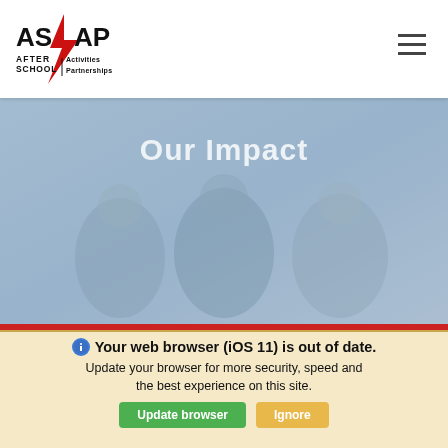[Figure (logo): ASAP After School Activities Partnerships logo with red lightning bolt]
[Figure (photo): Hero banner image showing students/youth with text 'Our Impact' overlaid in white, fading into blue-grey tint]
[Figure (infographic): Red background section below hero image]
Your web browser (iOS 11) is out of date. Update your browser for more security, speed and the best experience on this site.
Update browser
Ignore